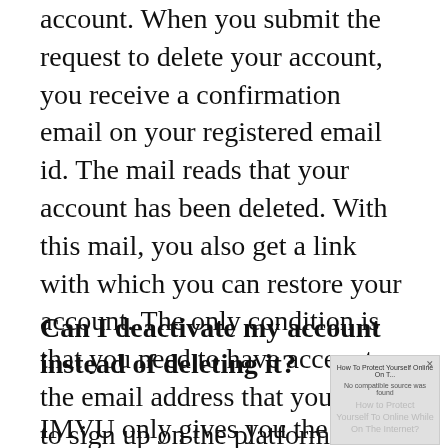account. When you submit the request to delete your account, you receive a confirmation email on your registered email id. The mail reads that your account has been deleted. With this mail, you also get a link with which you can restore your account. The only condition is that you need to have access to the email address that you used to sign up on the platform.
Can I deactivate my account instead of deleting it?
IMVU only gives you the option to delete